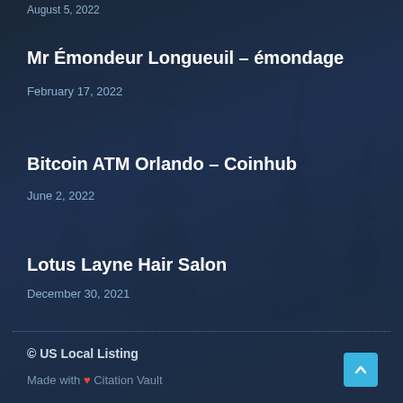August 5, 2022
Mr Émondeur Longueuil – émondage
February 17, 2022
Bitcoin ATM Orlando – Coinhub
June 2, 2022
Lotus Layne Hair Salon
December 30, 2021
© US Local Listing
Made with ❤ Citation Vault